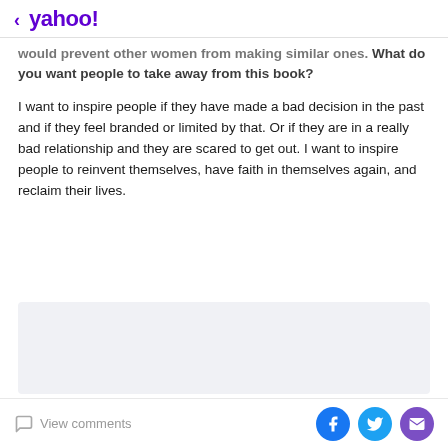< yahoo!
would prevent other women from making similar ones. What do you want people to take away from this book?
I want to inspire people if they have made a bad decision in the past and if they feel branded or limited by that. Or if they are in a really bad relationship and they are scared to get out. I want to inspire people to reinvent themselves, have faith in themselves again, and reclaim their lives.
[Figure (other): Gray advertisement block]
View comments